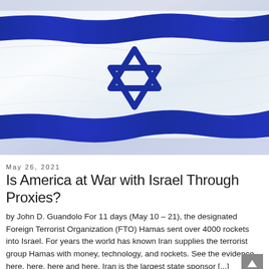[Figure (photo): Israeli flag waving, showing blue and white stripes with a Star of David in the center, photographed against a light background.]
May 26, 2021
Is America at War with Israel Through Proxies?
by John D. Guandolo For 11 days (May 10 – 21), the designated Foreign Terrorist Organization (FTO) Hamas sent over 4000 rockets into Israel. For years the world has known Iran supplies the terrorist group Hamas with money, technology, and rockets. See the evidence here, here, here and here. Iran is the largest state sponsor [...]